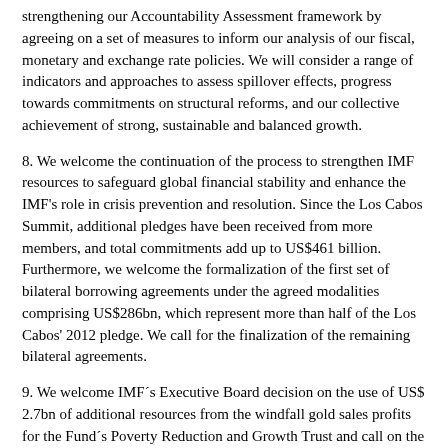strengthening our Accountability Assessment framework by agreeing on a set of measures to inform our analysis of our fiscal, monetary and exchange rate policies. We will consider a range of indicators and approaches to assess spillover effects, progress towards commitments on structural reforms, and our collective achievement of strong, sustainable and balanced growth.
8. We welcome the continuation of the process to strengthen IMF resources to safeguard global financial stability and enhance the IMF’s role in crisis prevention and resolution. Since the Los Cabos Summit, additional pledges have been received from more members, and total commitments add up to US$461 billion. Furthermore, we welcome the formalization of the first set of bilateral borrowing agreements under the agreed modalities comprising US$286bn, which represent more than half of the Los Cabos’ 2012 pledge. We call for the finalization of the remaining bilateral agreements.
9. We welcome IMF´s Executive Board decision on the use of US$2.7bn of additional resources from the windfall gold sales profits for the Fund´s Poverty Reduction and Growth Trust and call on the membership to provide the assurances needed for this to take place. This effort reinforces the international community´s will to reduce poverty by boosting financial assistance to low income country members.